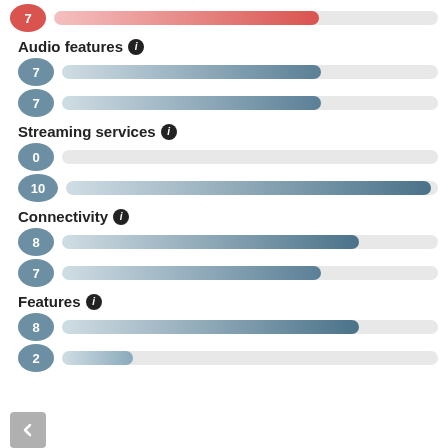[Figure (infographic): Score bar at top: red badge with 7, red gradient bar at ~69% fill]
Audio features ℹ
[Figure (infographic): Score bar: gray badge with 7, gray gradient bar at ~69% fill]
[Figure (infographic): Score bar: gray badge with 7, gray gradient bar at ~69% fill]
Streaming services ℹ
[Figure (infographic): Score bar: gray badge with 0, empty bar]
[Figure (infographic): Score bar: gray badge with 10, gray gradient bar at ~98% fill]
Connectivity ℹ
[Figure (infographic): Score bar: gray badge with 8, gray gradient bar at ~79% fill]
[Figure (infographic): Score bar: gray badge with 7, gray gradient bar at ~69% fill]
Features ℹ
[Figure (infographic): Score bar: gray badge with 8, gray gradient bar at ~79% fill]
[Figure (infographic): Score bar: gray badge with 2, gray gradient bar at ~19% fill]